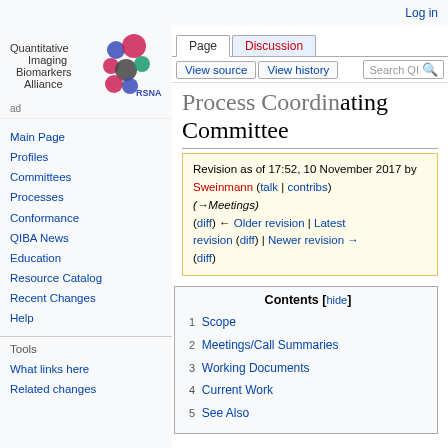Log in
[Figure (logo): Quantitative Imaging Biomarkers Alliance (QIBA/RSNA) logo with colorful dots]
Page | Discussion | View source | View history | Search QI
Process Coordinating Committee
Revision as of 17:52, 10 November 2017 by Sweinmann (talk | contribs) (→Meetings) (diff) ← Older revision | Latest revision (diff) | Newer revision → (diff)
Contents [hide]
1 Scope
2 Meetings/Call Summaries
3 Working Documents
4 Current Work
5 See Also
Main Page
Profiles
Committees
Processes
Conformance
QIBA News
Education
Resource Catalog
Recent Changes
Help
Tools
What links here
Related changes